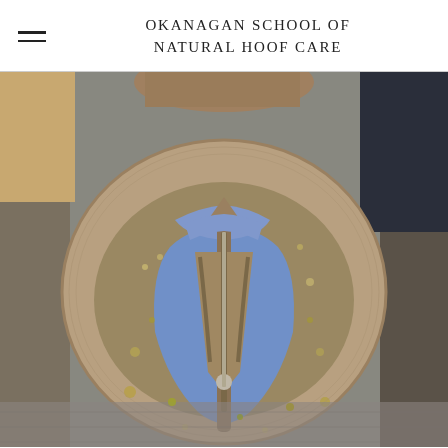OKANAGAN SCHOOL OF NATURAL HOOF CARE
[Figure (photo): Close-up bottom view of a horse hoof with blue therapeutic putty/impression material filling the frog and sole area, with a nail or pin visible in the center. The hoof is rounded and covered in dirt/debris. A person in a dark jacket is partially visible in the background.]